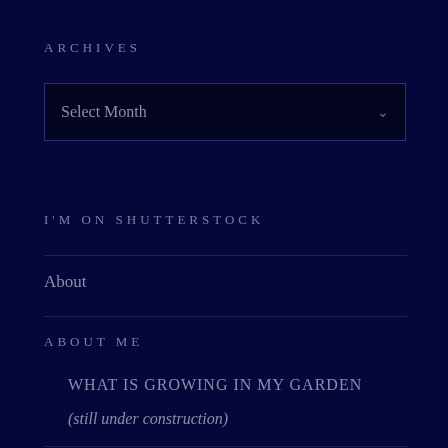ARCHIVES
[Figure (screenshot): Dropdown select box showing 'Select Month' with a down chevron arrow, dark background with blue border]
I'M ON SHUTTERSTOCK
About
ABOUT ME
WHAT IS GROWING IN MY GARDEN
(still under construction)